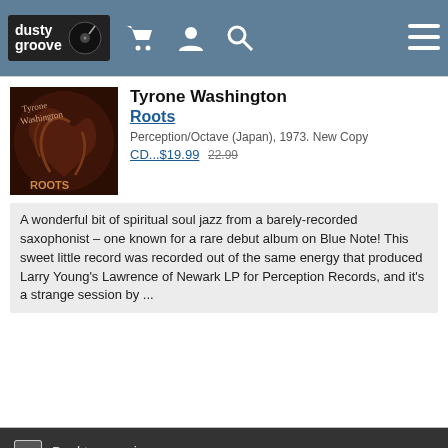dusty groove
Tyrone Washington
Roots
Perception/Octave (Japan), 1973. New Copy
CD...$19.99 22.99
A wonderful bit of spiritual soul jazz from a barely-recorded saxophonist – one known for a rare debut album on Blue Note! This sweet little record was recorded out of the same energy that produced Larry Young's Lawrence of Newark LP for Perception Records, and it's a strange session by ...
Desktop version | About Us | Terms of Use | Privacy & Security | Chicago Store | Requests & Suggestions | Comments | Contact Us | © 1996-2022, Dusty Groove 1120 N Ashland Ave, Chicago, IL 60622 USA | dg@dustygroove.com | 773-342-5800 | Dusty Groove is a registered trademark — read more.